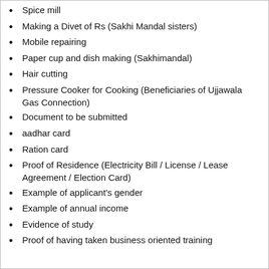Spice mill
Making a Divet of Rs (Sakhi Mandal sisters)
Mobile repairing
Paper cup and dish making (Sakhimandal)
Hair cutting
Pressure Cooker for Cooking (Beneficiaries of Ujjawala Gas Connection)
Document to be submitted
aadhar card
Ration card
Proof of Residence (Electricity Bill / License / Lease Agreement / Election Card)
Example of applicant's gender
Example of annual income
Evidence of study
Proof of having taken business oriented training